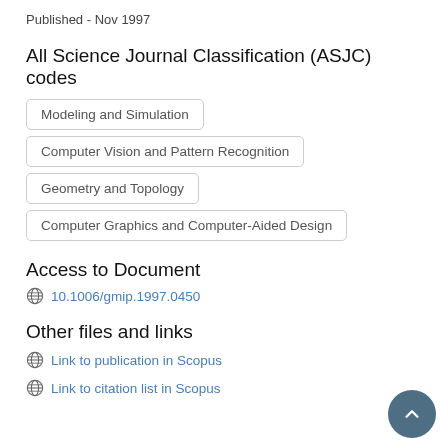Published - Nov 1997
All Science Journal Classification (ASJC) codes
Modeling and Simulation
Computer Vision and Pattern Recognition
Geometry and Topology
Computer Graphics and Computer-Aided Design
Access to Document
10.1006/gmip.1997.0450
Other files and links
Link to publication in Scopus
Link to citation list in Scopus